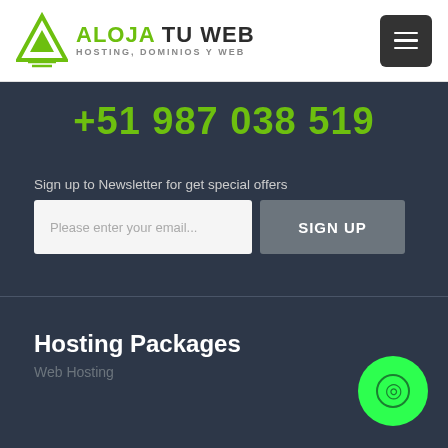[Figure (logo): Aloja Tu Web logo with green triangle/mountain icon and text ALOJA TU WEB HOSTING, DOMINIOS Y WEB]
+51 987 038 519
Sign up to Newsletter for get special offers
Please enter your email...
SIGN UP
Hosting Packages
Web Hosting